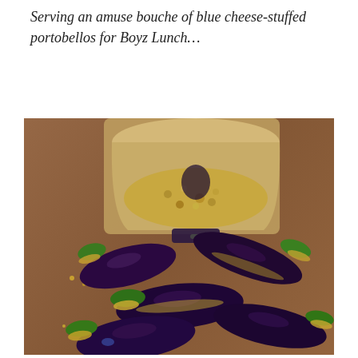Serving an amuse bouche of blue cheese-stuffed portobellos for Boyz Lunch…
[Figure (photo): Photo of several whole eggplants (aubergines) with green stems stuffed with a crumbly yellow filling (blue cheese stuffing), arranged on a wooden cutting board, with a food processor bowl visible in the background containing the same crumbly stuffing mixture.]